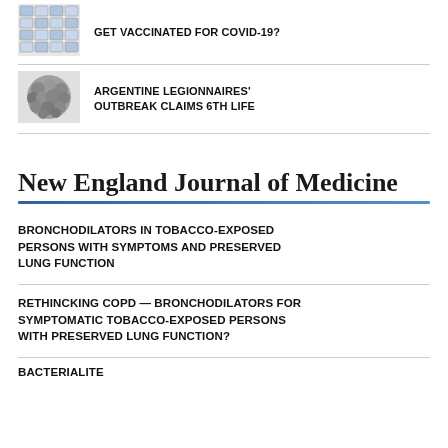[Figure (photo): Thumbnail image of COVID-19 vaccine vials arranged in a grid]
GET VACCINATED FOR COVID-19?
[Figure (photo): Microscopic image of Legionella bacteria clusters, spherical grey structures]
ARGENTINE LEGIONNAIRES' OUTBREAK CLAIMS 6TH LIFE
New England Journal of Medicine
BRONCHODILATORS IN TOBACCO-EXPOSED PERSONS WITH SYMPTOMS AND PRESERVED LUNG FUNCTION
RETHINCKING COPD — BRONCHODILATORS FOR SYMPTOMATIC TOBACCO-EXPOSED PERSONS WITH PRESERVED LUNG FUNCTION?
BACTERIALITE